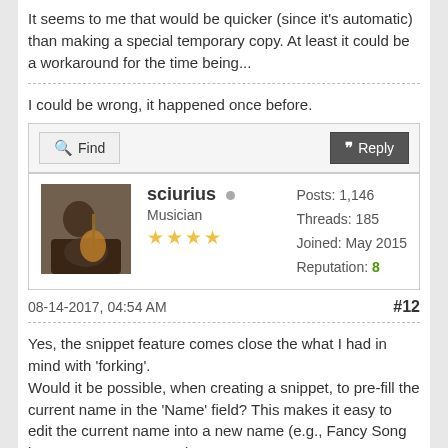It seems to me that would be quicker (since it's automatic) than making a special temporary copy. At least it could be a workaround for the time being...
I could be wrong, it happened once before.
Find | Reply
sciurius • Musician ★★★★ Posts: 1,146 Threads: 185 Joined: May 2015 Reputation: 8
08-14-2017, 04:54 AM #12
Yes, the snippet feature comes close the what I had in mind with 'forking'. Would it be possible, when creating a snippet, to pre-fill the current name in the 'Name' field? This makes it easy to edit the current name into a new name (e.g., Fancy Song becomes Fancy Song 2). Or append " (Snippet)" to the title or something similar?